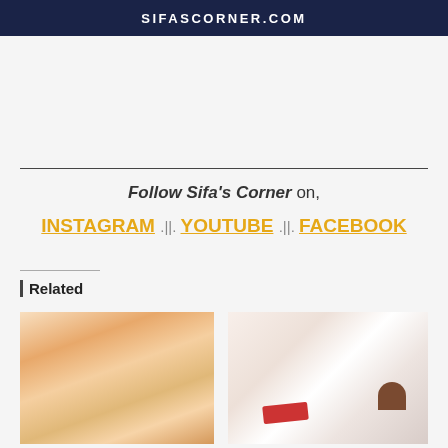SIFASCORNER.COM
Follow Sifa's Corner on,
INSTAGRAM .||. YOUTUBE .||. FACEBOOK
Related
[Figure (photo): Woman wearing a striped orange/yellow/pink sweater]
[Figure (photo): Woman in a shoe store looking at high heels on display]